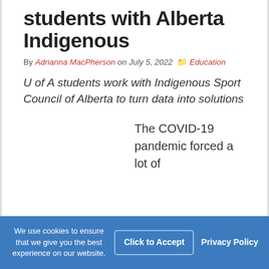students with Alberta Indigenous
By Adrianna MacPherson on July 5, 2022  Education
U of A students work with Indigenous Sport Council of Alberta to turn data into solutions
The COVID-19 pandemic forced a lot of
We use cookies to ensure that we give you the best experience on our website.  Click to Accept  Privacy Policy